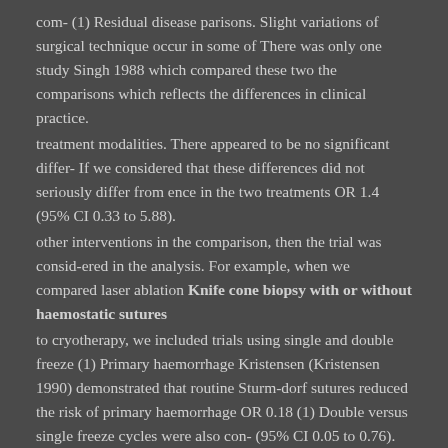com- (1) Residual disease parisons. Slight variations of surgical technique occur in some of There was only one study Singh 1988 which compared these two the comparisons which reflects the differences in clinical practice.
treatment modalities. There appeared to be no significant differ- If we considered that these differences did not seriously differ from ence in the two treatments OR 1.4 (95% CI 0.33 to 5.88).
other interventions in the comparison, then the trial was consid-ered in the analysis. For example, when we compared laser ablation Knife cone biopsy with or without haemostatic sutures
to cryotherapy, we included trials using single and double freeze (1) Primary haemorrhage Kristensen (Kristensen 1990) demonstrated that routine Sturm-dorf sutures reduced the risk of primary haemorrhage OR 0.18 (1) Double versus single freeze cycles were also con- (95% CI 0.05 to 0.76).